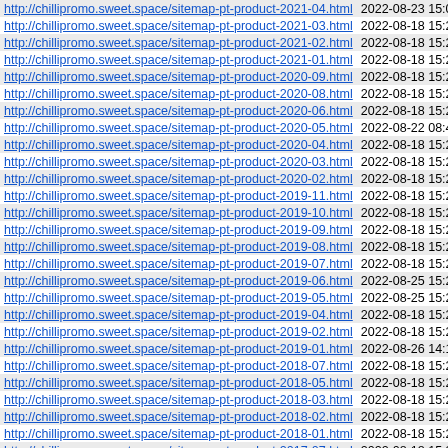| URL | Date |
| --- | --- |
| http://chillipromo.sweet.space/sitemap-pt-product-2021-04.html | 2022-08-23 15:09 |
| http://chillipromo.sweet.space/sitemap-pt-product-2021-03.html | 2022-08-18 15:24 |
| http://chillipromo.sweet.space/sitemap-pt-product-2021-02.html | 2022-08-18 15:24 |
| http://chillipromo.sweet.space/sitemap-pt-product-2021-01.html | 2022-08-18 15:24 |
| http://chillipromo.sweet.space/sitemap-pt-product-2020-09.html | 2022-08-18 15:24 |
| http://chillipromo.sweet.space/sitemap-pt-product-2020-08.html | 2022-08-18 15:24 |
| http://chillipromo.sweet.space/sitemap-pt-product-2020-06.html | 2022-08-18 15:24 |
| http://chillipromo.sweet.space/sitemap-pt-product-2020-05.html | 2022-08-22 08:44 |
| http://chillipromo.sweet.space/sitemap-pt-product-2020-04.html | 2022-08-18 15:24 |
| http://chillipromo.sweet.space/sitemap-pt-product-2020-03.html | 2022-08-18 15:24 |
| http://chillipromo.sweet.space/sitemap-pt-product-2020-02.html | 2022-08-18 15:24 |
| http://chillipromo.sweet.space/sitemap-pt-product-2019-11.html | 2022-08-18 15:24 |
| http://chillipromo.sweet.space/sitemap-pt-product-2019-10.html | 2022-08-18 15:24 |
| http://chillipromo.sweet.space/sitemap-pt-product-2019-09.html | 2022-08-18 15:24 |
| http://chillipromo.sweet.space/sitemap-pt-product-2019-08.html | 2022-08-18 15:24 |
| http://chillipromo.sweet.space/sitemap-pt-product-2019-07.html | 2022-08-18 15:24 |
| http://chillipromo.sweet.space/sitemap-pt-product-2019-06.html | 2022-08-25 15:24 |
| http://chillipromo.sweet.space/sitemap-pt-product-2019-05.html | 2022-08-25 15:25 |
| http://chillipromo.sweet.space/sitemap-pt-product-2019-04.html | 2022-08-18 15:24 |
| http://chillipromo.sweet.space/sitemap-pt-product-2019-02.html | 2022-08-18 15:24 |
| http://chillipromo.sweet.space/sitemap-pt-product-2019-01.html | 2022-08-26 14:16 |
| http://chillipromo.sweet.space/sitemap-pt-product-2018-07.html | 2022-08-18 15:24 |
| http://chillipromo.sweet.space/sitemap-pt-product-2018-05.html | 2022-08-18 15:24 |
| http://chillipromo.sweet.space/sitemap-pt-product-2018-03.html | 2022-08-18 15:24 |
| http://chillipromo.sweet.space/sitemap-pt-product-2018-02.html | 2022-08-18 15:24 |
| http://chillipromo.sweet.space/sitemap-pt-product-2018-01.html | 2022-08-18 15:24 |
| http://chillipromo.sweet.space/sitemap-pt-product-2017-07.html | 2022-08-18 15:24 |
| http://chillipromo.sweet.space/sitemap-pt-product-2016-11.html | 2022-08-18 15:24 |